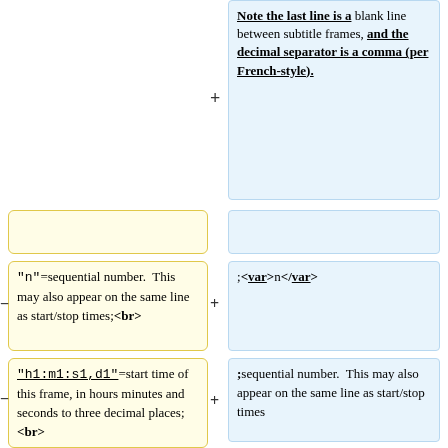Note the last line is a blank line between subtitle frames, and the decimal separator is a comma (per French-style).
;sequential number. This may also appear on the same line as start/stop times
"""n"""=sequential number. This may also appear on the same line as start/stop times;<br>
;sequential number. This may also appear on the same line as start/stop times
"""h1:m1:s1,d1"""=start time of this frame, in hours minutes and seconds to three decimal places;<br>
;sequential number. This may also appear on the same line as start/stop times
"""h2:m2:s2,d2""" = stop time.<br>
; <nowiki>h1:m1:s1,d1</nowiki> ≥
::Note the French-style comma for the decimal delimiter.
;start time of this frame, in hours minutes and seconds to three